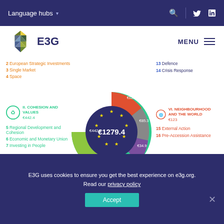Language hubs
[Figure (logo): E3G hexagonal logo with colored triangles]
E3G
MENU
2 European Strategic Investments
3 Single Market
4 Space
[Figure (donut-chart): Donut chart showing EU budget segments: II. Cohesion and Values €442.4 (large green), €378.9 (lime green), VI. Neighbourhood and the World €123 (red/coral), €85.3 (grey), €34.9 (purple). Centre: €1279.4]
II. COHESION AND VALUES
€442.4
5 Regional Development and Cohesion
6 Economic and Monetary Union
7 Investing in People
13 Defence
14 Crisis Response
VI. NEIGHBOURHOOD AND THE WORLD
€123
15 External Action
16 Pre-Accession Assistance
E3G uses cookies to ensure you get the best experience on e3g.org. Read our privacy policy
Accept